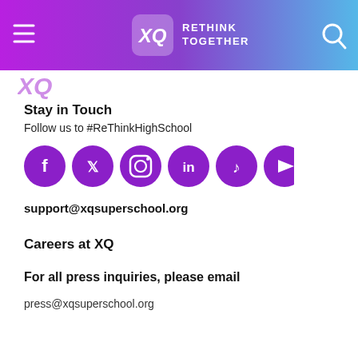[Figure (logo): XQ Rethink Together navigation header with purple-to-blue gradient, hamburger menu icon, XQ logo with italic text, and search icon]
[Figure (logo): Partial XQ logo watermark in purple at top left of content area]
Stay in Touch
Follow us to #ReThinkHighSchool
[Figure (infographic): Six purple circular social media icons: Facebook, Twitter, Instagram, LinkedIn, TikTok, YouTube]
support@xqsuperschool.org
Careers at XQ
For all press inquiries, please email
press@xqsuperschool.org